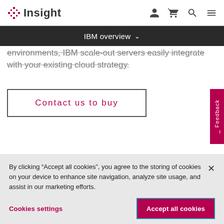Insight — navigation header with logo and icons
IBM overview
environments, IBM scale-out servers easily integrate with your existing cloud strategy.
Contact us to buy
Feedback
By clicking “Accept all cookies”, you agree to the storing of cookies on your device to enhance site navigation, analyze site usage, and assist in our marketing efforts.
Cookies settings
Accept all cookies